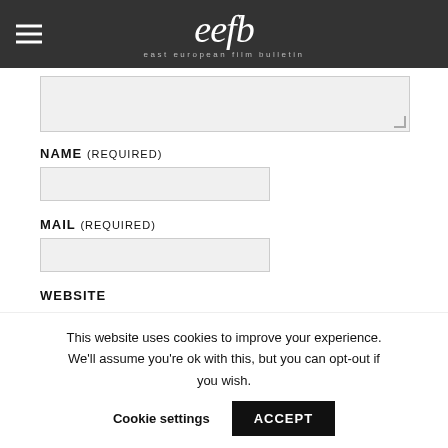eefb — east european film bulletin
[textarea field]
NAME (REQUIRED)
[name input field]
MAIL (REQUIRED)
[mail input field]
WEBSITE
This website uses cookies to improve your experience. We'll assume you're ok with this, but you can opt-out if you wish.
Cookie settings
ACCEPT